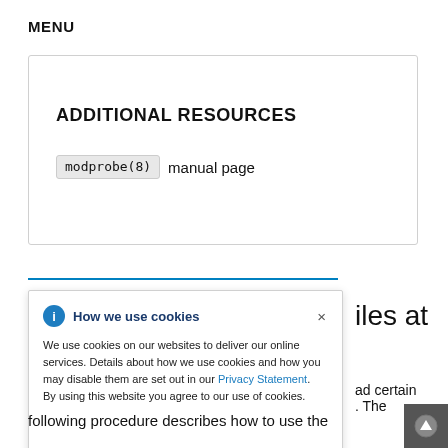MENU
ADDITIONAL RESOURCES
modprobe(8) manual page
How we use cookies
We use cookies on our websites to deliver our online services. Details about how we use cookies and how you may disable them are set out in our Privacy Statement. By using this website you agree to our use of cookies.
...iles at
...ad certain
. The
following procedure describes how to use the